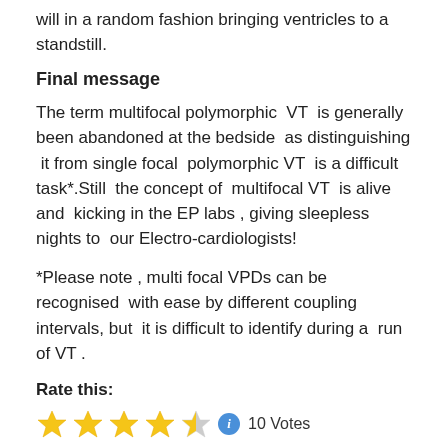will in a random fashion bringing ventricles to a standstill.
Final message
The term multifocal polymorphic  VT  is generally been abandoned at the bedside  as distinguishing  it from single focal  polymorphic VT  is a difficult task*.Still  the concept of  multifocal VT  is alive and  kicking in the EP labs , giving sleepless nights to  our Electro-cardiologists!
*Please note , multi focal VPDs can be recognised  with ease by different coupling intervals, but  it is difficult to identify during a  run of VT .
Rate this:
[Figure (other): Star rating showing 4.5 out of 5 stars with an info icon and 10 Votes label]